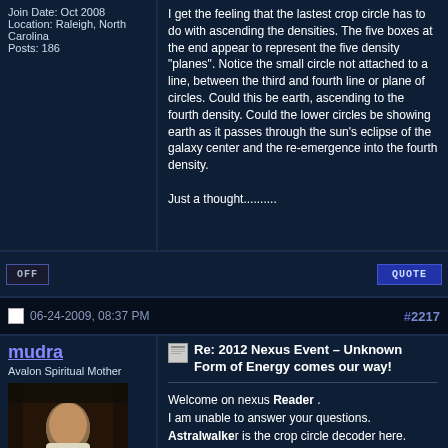Join Date: Oct 2008
Location: Raleigh, North Carolina
Posts: 186
I get the feeling that the lastest crop circle has to do with ascending the densities. The five boxes at the end appear to represent the five density "planes". Notice the small circle not attached to a line, between the third and fourth line or plane of circles. Could this be earth, ascending to the fourth density. Could the lower circles be showing earth as it passes through the sun's eclipse of the galaxy center and the re-emergence into the fourth density.

Just a thought..........
OFF
QUOTE
06-24-2009, 08:37 PM
#2217
mudra
Avalon Spiritual Mother
[Figure (photo): Avatar image of a woman in white robe sitting in a meditative pose in dim lighting]
Join Date: Sep 2008
Location: ...
Re: 2012 Nexus Event – Unknown Form of Energy comes our way!
Welcome on nexus Reader .
I am unable to answer your questions.
Astralwalker is the crop circle decoder here.
He might give you some insight when he comes in.

Kindness
mudra